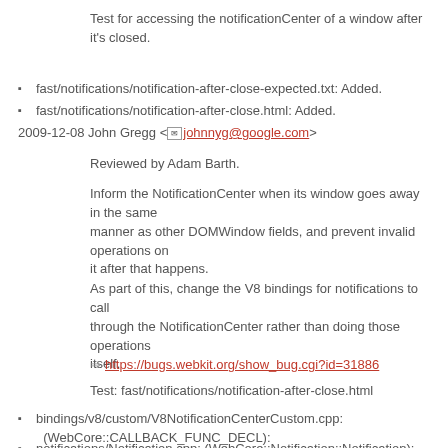Test for accessing the notificationCenter of a window after it's closed.
fast/notifications/notification-after-close-expected.txt: Added.
fast/notifications/notification-after-close.html: Added.
2009-12-08 John Gregg <johnnyg@google.com>
Reviewed by Adam Barth.
Inform the NotificationCenter when its window goes away in the same manner as other DOMWindow fields, and prevent invalid operations on it after that happens.
As part of this, change the V8 bindings for notifications to call through the NotificationCenter rather than doing those operations itself.
=> https://bugs.webkit.org/show_bug.cgi?id=31886
Test: fast/notifications/notification-after-close.html
bindings/v8/custom/V8NotificationCenterCustom.cpp: (WebCore::CALLBACK_FUNC_DECL):
notifications/Notification.cpp: (WebCore::Notification::Notification):